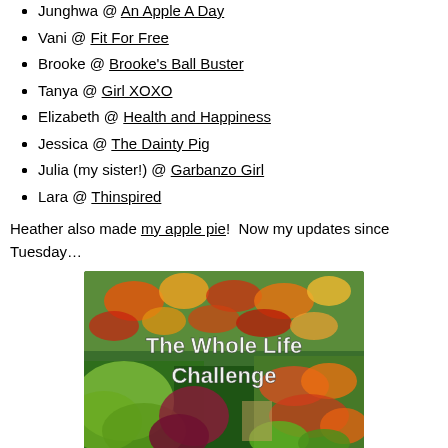Junghwa @ An Apple A Day
Vani @ Fit For Free
Brooke @ Brooke's Ball Buster
Tanya @ Girl XOXO
Elizabeth @ Health and Happiness
Jessica @ The Dainty Pig
Julia (my sister!) @ Garbanzo Girl
Lara @ Thinspired
Heather also made my apple pie!  Now my updates since Tuesday…
[Figure (photo): Photo of colorful vegetables and produce at a market with text overlay reading 'The Whole Life Challenge']